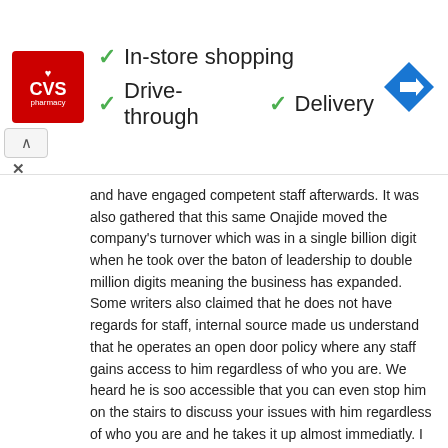[Figure (screenshot): CVS Pharmacy advertisement banner with checkmarks for In-store shopping, Drive-through, and Delivery options, plus a Google Maps-style navigation icon on the right]
and have engaged competent staff afterwards. It was also gathered that this same Onajide moved the company's turnover which was in a single billion digit when he took over the baton of leadership to double million digits meaning the business has expanded. Some writers also claimed that he does not have regards for staff, internal source made us understand that he operates an open door policy where any staff gains access to him regardless of who you are. We heard he is soo accessible that you can even stop him on the stairs to discuss your issues with him regardless of who you are and he takes it up almost immediatly. I think the earlier commentators are just dump and aggrieved foolishly.
Reply
Jigi    Oct 12, 2015 at
@Ben well said, wolf criers really. This fraudsters have drained the company stupid if the MD didn't